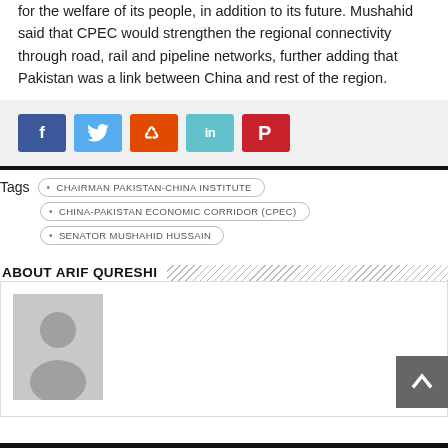for the welfare of its people, in addition to its future. Mushahid said that CPEC would strengthen the regional connectivity through road, rail and pipeline networks, further adding that Pakistan was a link between China and rest of the region.
[Figure (infographic): Social share buttons: Facebook (blue), Twitter (light blue), StumbleUpon (orange-red), LinkedIn (teal), Pinterest (red)]
CHAIRMAN PAKISTAN-CHINA INSTITUTE
CHINA-PAKISTAN ECONOMIC CORRIDOR (CPEC)
SENATOR MUSHAHID HUSSAIN
ABOUT ARIF QURESHI
[Figure (photo): Default avatar placeholder image showing a silhouette of a person on grey background]